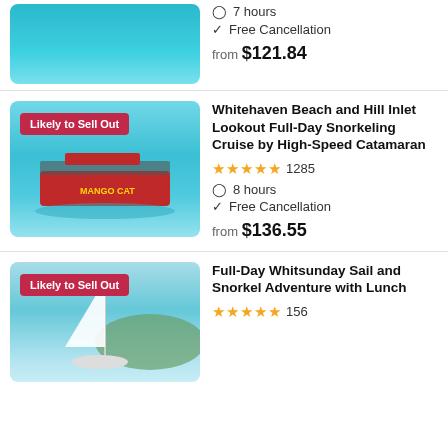[Figure (photo): Ocean/sea water photo (top, partially cropped)]
7 hours
Free Cancellation
from $121.84
[Figure (photo): Red high-speed catamaran on turquoise ocean water with badge 'Likely to Sell Out']
Whitehaven Beach and Hill Inlet Lookout Full-Day Snorkeling Cruise by High-Speed Catamaran
1285 reviews, 5 stars
8 hours
Free Cancellation
from $136.55
[Figure (photo): Sailboat on calm blue water with badge 'Likely to Sell Out']
Full-Day Whitsunday Sail and Snorkel Adventure with Lunch
156 reviews, 5 stars